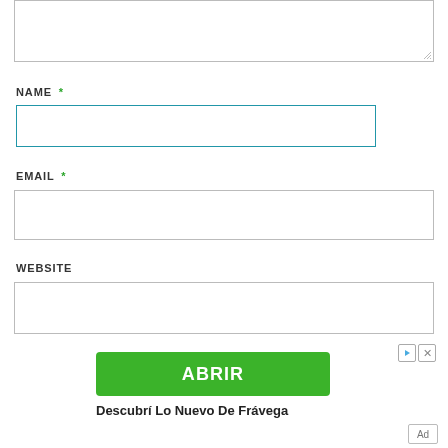[Figure (screenshot): Textarea input stub at top of page with resize handle]
NAME *
[Figure (screenshot): Name text input field with blue border]
EMAIL *
[Figure (screenshot): Email text input field with gray border]
WEBSITE
[Figure (screenshot): Website text input field with gray border]
[Figure (screenshot): Green ABRIR button advertisement with ad controls and Descubrí Lo Nuevo De Frávega text]
Descubrí Lo Nuevo De Frávega
Ad